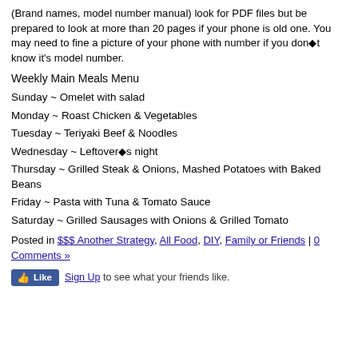(Brand names, model number manual) look for PDF files but be prepared to look at more than 20 pages if your phone is old one. You may need to fine a picture of your phone with number if you don■t know it's model number.
Weekly Main Meals Menu
Sunday ~ Omelet with salad
Monday ~ Roast Chicken & Vegetables
Tuesday ~ Teriyaki Beef & Noodles
Wednesday ~ Leftover■s night
Thursday ~ Grilled Steak & Onions, Mashed Potatoes with Baked Beans
Friday ~ Pasta with Tuna & Tomato Sauce
Saturday ~ Grilled Sausages with Onions & Grilled Tomato
Posted in $$$ Another Strategy, All Food, DIY, Family or Friends | 0 Comments »
[Figure (other): Facebook Like button with 'Sign Up to see what your friends like.' text]